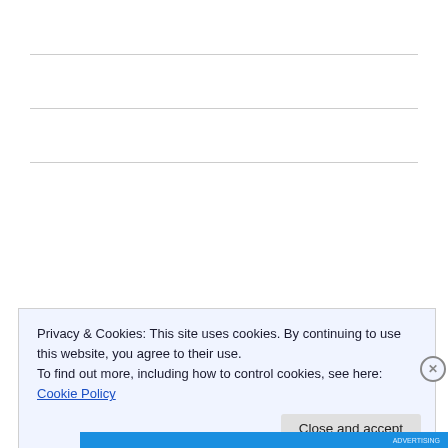[Figure (other): Advertisement block with blue-to-purple gradient, labeled 'Advertisements' above it]
Privacy & Cookies: This site uses cookies. By continuing to use this website, you agree to their use.
To find out more, including how to control cookies, see here: Cookie Policy
Close and accept